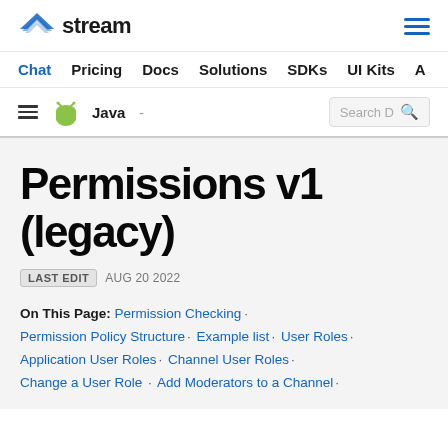stream — Chat · Pricing · Docs · Solutions · SDKs · UI Kits
Java — Search D
Permissions v1 (legacy)
LAST EDIT AUG 20 2022
On This Page: Permission Checking · Permission Policy Structure · Example list · User Roles · Application User Roles · Channel User Roles · Change a User Role · Add Moderators to a Channel ·